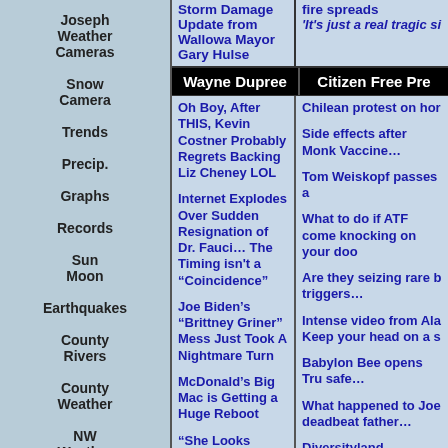Joseph Weather Cameras
Snow Camera
Trends
Precip.
Graphs
Records
Sun Moon
Earthquakes
County Rivers
County Weather
NW Weather
USA World Weather
Storm Damage Update from Wallowa Mayor Gary Hulse
fire spreads
'It's just a real tragic si
Wayne Dupree
Citizen Free Pre
Oh Boy, After THIS, Kevin Costner Probably Regrets Backing Liz Cheney LOL
Chilean protest on hor
Side effects after Monk Vaccine…
Internet Explodes Over Sudden Resignation of Dr. Fauci… The Timing isn't a “Coincidence”
Tom Weiskopf passes a
What to do if ATF come knocking on your doo
Joe Biden’s “Brittney Griner” Mess Just Took A Nightmare Turn
Are they seizing rare b triggers…
McDonald’s Big Mac is Getting a Huge Reboot
Intense video from Ala Keep your head on a s
“She Looks Better Than a Playboy Bunny, Doesn’t She?” 1974 Biden Interview About His Dead Wife is Disturbing
Babylon Bee opens Tru safe…
What happened to Joe deadbeat father…
Oh, Look….Mike Pence Just Had a Sudden Change of Heart
Diversityland…
16-Year-Old Boy Dies Suddenly of a Heart Attack While Playing Frisbee With His Famil
Minnesota Teacher's U